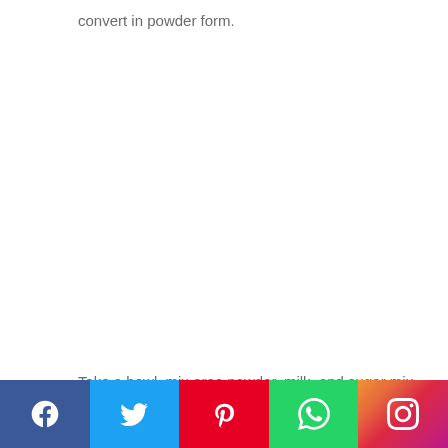convert in powder form.
Take a bowl, mix oreo powder, milk, and sugar mix it well.  Now add Eno and mix it properly its convert in a smooth paste.
[Figure (infographic): Social media share bar with icons for Facebook, Twitter, Pinterest, WhatsApp, and Instagram]